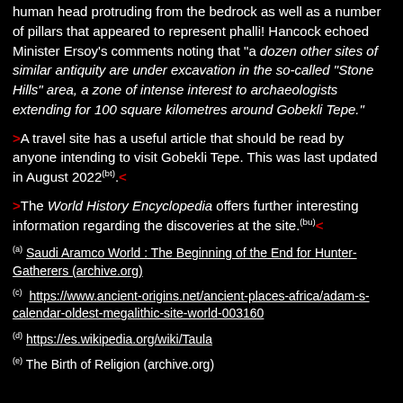human head protruding from the bedrock as well as a number of pillars that appeared to represent phalli! Hancock echoed Minister Ersoy’s comments noting that “a dozen other sites of similar antiquity are under excavation in the so-called “Stone Hills” area, a zone of intense interest to archaeologists extending for 100 square kilometres around Gobekli Tepe.”
>A travel site has a useful article that should be read by anyone intending to visit Gobekli Tepe. This was last updated in August 2022(bt).<
>The World History Encyclopedia offers further interesting information regarding the discoveries at the site.(bu)<
(a) Saudi Aramco World : The Beginning of the End for Hunter-Gatherers (archive.org)
(c) https://www.ancient-origins.net/ancient-places-africa/adam-s-calendar-oldest-megalithic-site-world-003160
(d) https://es.wikipedia.org/wiki/Taula
(e) The Birth of Religion (archive.org)